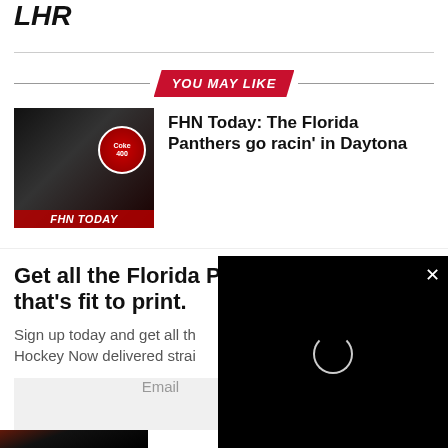LHR
YOU MAY LIKE
[Figure (photo): FHN Today thumbnail with hockey players and Coke 400 logo]
FHN Today: The Florida Panthers go racin' in Daytona
Get all the Florida Panthers news that's fit to print.
Sign up today and get all the Florida Hockey Now delivered straight
Email
SIGN UP!
[Figure (screenshot): Black video player overlay with loading spinner and close button]
[Figure (photo): Florida Panthers hockey player in red uniform on ice]
What the Florida Panthers should expect from Anton Lundell in Year 2What the Florida Panthers shoul...